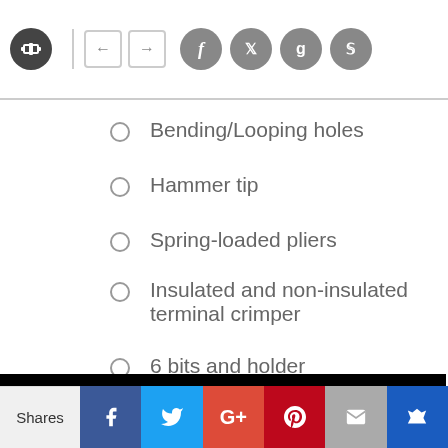Navigation header with logo, arrow buttons, and social icons
Bending/Looping holes
Hammer tip
Spring-loaded pliers
Insulated and non-insulated terminal crimper
6 bits and holder
This website uses cookies to ensure you get the best experience on our website.
More info
Got it!
Shares | Facebook | Twitter | Google+ | Pinterest | Email | Crown